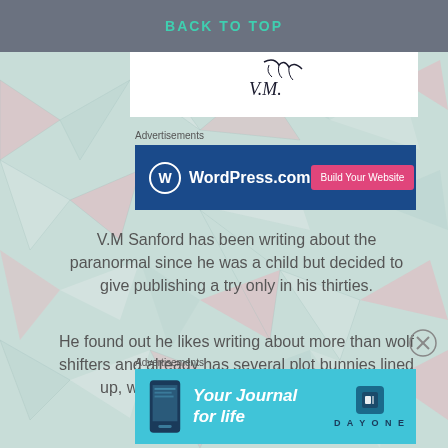BACK TO TOP
[Figure (illustration): Author signature/logo in white box area]
Advertisements
[Figure (other): WordPress.com advertisement banner with 'Build Your Website' button]
V.M Sanford has been writing about the paranormal since he was a child but decided to give publishing a try only in his thirties.
He found out he likes writing about more than wolf shifters and already has several plot bunnies lined up, waiting for him to write their books.
Advertisements
[Figure (other): Day One 'Your Journal for life' advertisement banner]